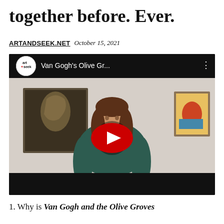together before. Ever.
ARTANDSEEK.NET  October 15, 2021
[Figure (screenshot): YouTube video thumbnail showing a woman with brown hair and bangs wearing a dark teal sweater, standing in an art gallery with paintings visible behind her. The video title reads 'Van Gogh's Olive Gr...' with the Art+Seek logo on the top left and a red play button in the center.]
1. Why is Van Gogh and the Olive Groves